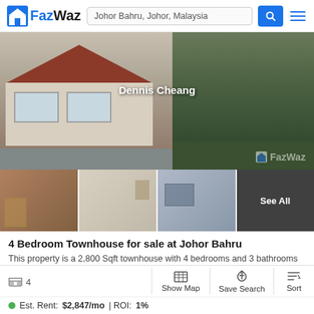FazWaz — Johor Bahru, Johor, Malaysia
[Figure (photo): Main exterior photo of a townhouse with red tile roof, large windows, bicycle parked outside, green lawn and trees visible. Watermark 'Dennis Cheang' and FazWaz logo overlaid.]
[Figure (photo): Thumbnail strip of 4 property interior/exterior photos. Last thumbnail has 'See All' overlay.]
4 Bedroom Townhouse for sale at Johor Bahru
This property is a 2,800 Sqft townhouse with 4 bedrooms and 3 bathrooms that is available for sale. It is part of the Johor Bahru project in Bandar Johor Bahru, Johor. You can buy this townhouse...
Show Map | Save Search | Sort | Est. Rent: $2,847/mo | ROI: 1%